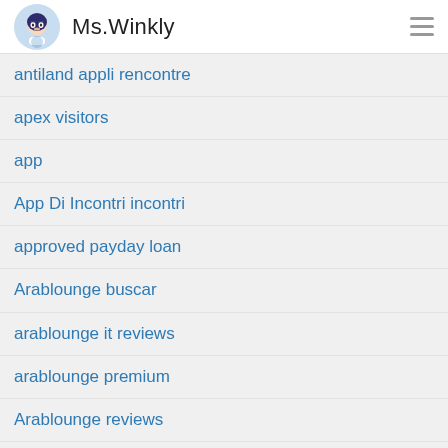Ms.Winkly
antiland appli rencontre
apex visitors
app
App Di Incontri incontri
approved payday loan
Arablounge buscar
arablounge it reviews
arablounge premium
Arablounge reviews
Arablounge visitors
Arizona installment loan definition
Arizona online payday loans
Arizona payday loans near me